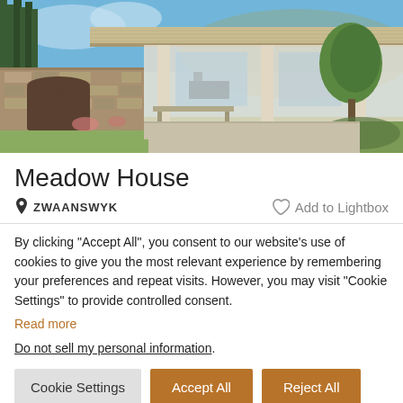[Figure (photo): Exterior photo of Meadow House — a modern flat-roofed residence with stone walls, wide overhanging roof, open covered terrace area, tall trees in background, blue sky, and lush green garden.]
Meadow House
📍 ZWAANSWYK     ♡ Add to Lightbox
By clicking "Accept All", you consent to our website's use of cookies to give you the most relevant experience by remembering your preferences and repeat visits. However, you may visit "Cookie Settings" to provide controlled consent. Read more
Do not sell my personal information.
Cookie Settings   Accept All   Reject All